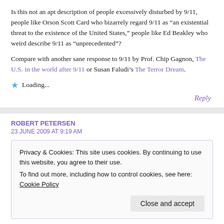Is this not an apt description of people excessively disturbed by 9/11, people like Orson Scott Card who bizarrely regard 9/11 as “an existential threat to the existence of the United States,” people like Ed Beakley who weird describe 9/11 as “unprecedented”?
Compare with another sane response to 9/11 by Prof. Chip Gagnon, The U.S. in the world after 9/11 or Susan Faludi’s The Terror Dream.
Loading...
Reply
ROBERT PETERSEN
23 JUNE 2009 AT 9:19 AM
Privacy & Cookies: This site uses cookies. By continuing to use this website, you agree to their use.
To find out more, including how to control cookies, see here: Cookie Policy
Close and accept
in Pakistan, fighting opium etc. There is no clear strategic goal anymore. If